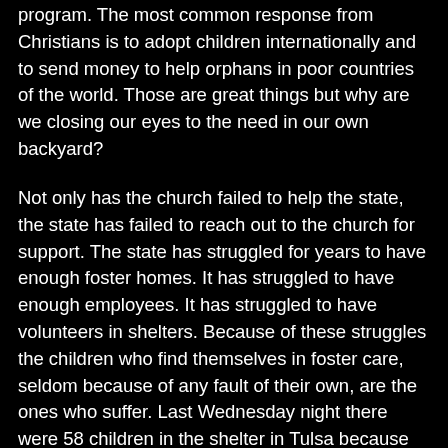program. The most common response from Christians is to adopt children internationally and to send money to help orphans in poor countries of the world. Those are great things but why are we closing our eyes to the need in our own backyard?
Not only has the church failed to help the state, the state has failed to reach out to the church for support. The state has struggled for years to have enough foster homes. It has struggled to have enough employees. It has struggled to have volunteers in shelters. Because of these struggles the children who find themselves in foster care, seldom because of any fault of their own, are the ones who suffer. Last Wednesday night there were 58 children in the shelter in Tulsa because they did not have enough families to place them. Finally, the state is asking the church for help.
The State of Oklahoma is partnering with communities of faith through the 111 project (www.111project.org). The